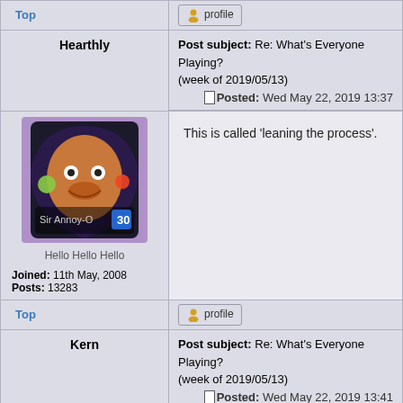Top
[Figure (other): Profile button with user icon]
| Hearthly | Post subject: Re: What's Everyone Playing? (week of 2019/05/13) Posted: Wed May 22, 2019 13:37 |
| --- | --- |
[Figure (photo): Hearthstone card avatar showing Sir Annoy-O character with number 30]
Hello Hello Hello
Joined: 11th May, 2008
Posts: 13283
This is called 'leaning the process'.
Top
[Figure (other): Profile button with user icon]
| Kern | Post subject: Re: What's Everyone Playing? (week of 2019/05/13) Posted: Wed May 22, 2019 13:41 |
| --- | --- |
[Figure (illustration): Cartoon avatar of a man in blue uniform leaning against a tree]
Joined: 12th Apr, 2008
Doctor Glyndwr wrote: It was actually nine days. Even quicker than I expected.
You do not have the required permissions to view